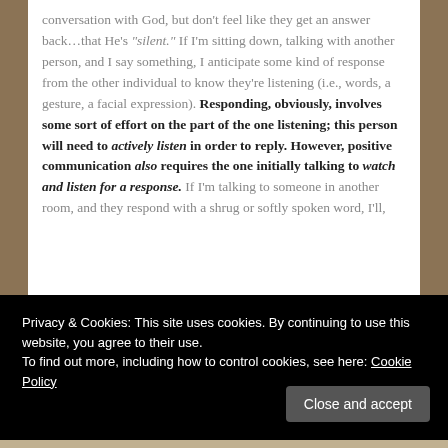conversation with God, but don't feel like they get an answer back…that He's "silent." If I'm sitting down, talking with another person, and I say something, I anticipate some kind of response from the other individual to know they're listening (i.e., words, a gesture, a facial expression). Responding, obviously, involves some sort of effort on the part of the one listening; this person will need to actively listen in order to reply. However, positive communication also requires the one initially talking to watch and listen for a response. If I'm talking to someone in another room, and they respond with a shrug or softly spoken word, I'll,
Privacy & Cookies: This site uses cookies. By continuing to use this website, you agree to their use.
To find out more, including how to control cookies, see here: Cookie Policy
Close and accept